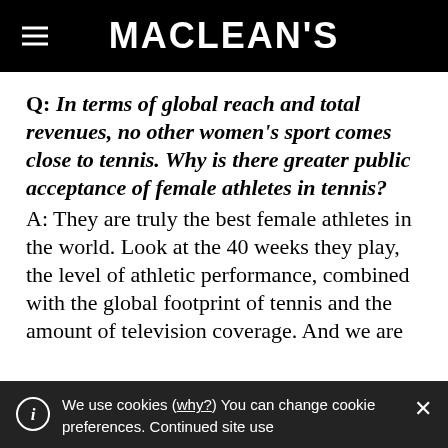MACLEAN'S
Q: In terms of global reach and total revenues, no other women's sport comes close to tennis. Why is there greater public acceptance of female athletes in tennis?
A: They are truly the best female athletes in the world. Look at the 40 weeks they play, the level of athletic performance, combined with the global footprint of tennis and the amount of television coverage. And we are
We use cookies (why?) You can change cookie preferences. Continued site use